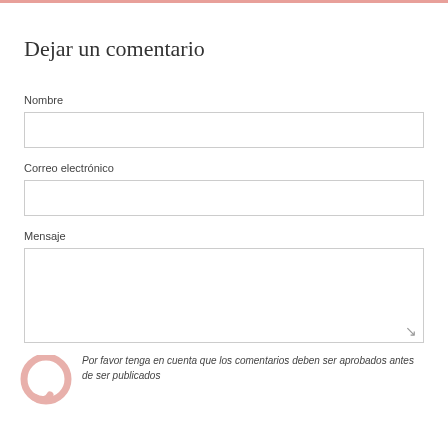Dejar un comentario
Nombre
Correo electrónico
Mensaje
Por favor tenga en cuenta que los comentarios deben ser aprobados antes de ser publicados